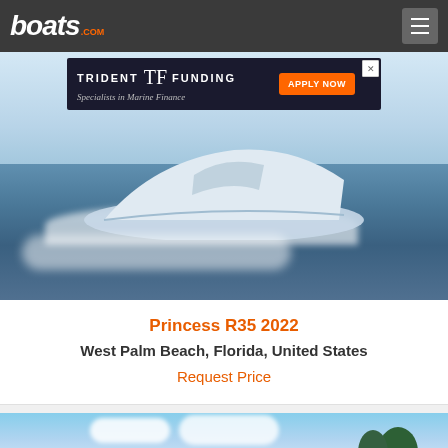boats.com
[Figure (photo): Advertisement banner for Trident Funding - Specialists in Marine Finance with Apply Now button]
[Figure (photo): Princess R35 2022 luxury speedboat on water, white/silver sleek design cutting through waves at speed]
Princess R35 2022
West Palm Beach, Florida, United States
Request Price
[Figure (photo): Second boat listing image showing a boat near trees with cloudy sky background]